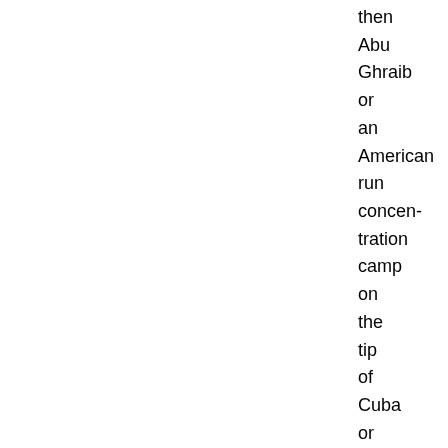then Abu Ghraib or an American run concentration camp on the tip of Cuba or extraordinary renditions beyond the reach of the